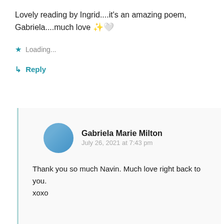Lovely reading by Ingrid....it's an amazing poem, Gabriela....much love ✨🤍
Loading...
↳ Reply
Gabriela Marie Milton
July 26, 2021 at 7:43 pm
Thank you so much Navin. Much love right back to you.
xoxo